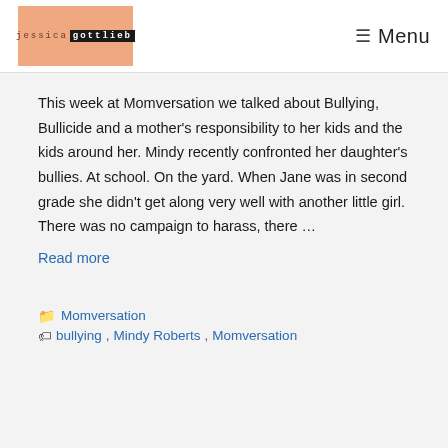jessica gottlieb | Menu
This week at Momversation we talked about Bullying, Bullicide and a mother’s responsibility to her kids and the kids around her. Mindy recently confronted her daughter’s bullies. At school. On the yard. When Jane was in second grade she didn’t get along very well with another little girl. There was no campaign to harass, there …
Read more
Momversation
bullying, Mindy Roberts, Momversation